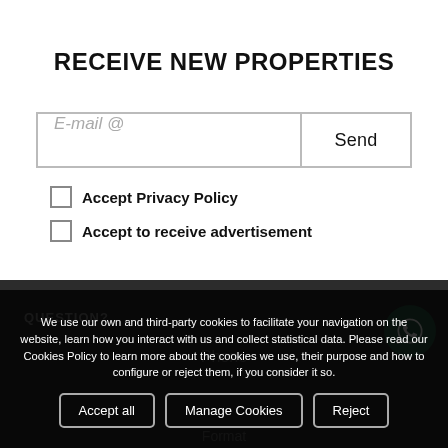RECEIVE NEW PROPERTIES
E-mail @
Send
Accept Privacy Policy
Accept to receive advertisement
We use our own and third-party cookies to facilitate your navigation on the website, learn how you interact with us and collect statistical data. Please read our Cookies Policy to learn more about the cookies we use, their purpose and how to configure or reject them, if you consider it so.
Accept all
Manage Cookies
Reject
QUESTION?
Format